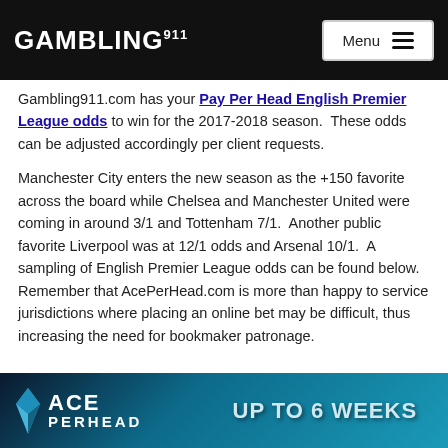GAMBLING911 Menu
Gambling911.com has your Pay Per Head English Premier League odds to win for the 2017-2018 season.  These odds can be adjusted accordingly per client requests.
Manchester City enters the new season as the +150 favorite across the board while Chelsea and Manchester United were coming in around 3/1 and Tottenham 7/1.  Another public favorite Liverpool was at 12/1 odds and Arsenal 10/1.  A sampling of English Premier League odds can be found below.  Remember that AcePerHead.com is more than happy to service jurisdictions where placing an online bet may be difficult, thus increasing the need for bookmaker patronage.
[Figure (infographic): AcePerHead.com advertisement banner with diamond logo on dark teal background reading 'ACE PERHEAD - UP TO 6 WEEKS']